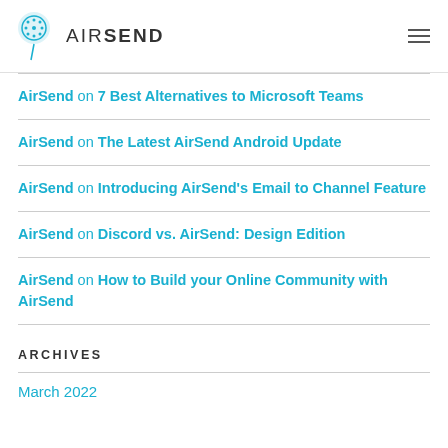AIRSEND
AirSend on 7 Best Alternatives to Microsoft Teams
AirSend on The Latest AirSend Android Update
AirSend on Introducing AirSend's Email to Channel Feature
AirSend on Discord vs. AirSend: Design Edition
AirSend on How to Build your Online Community with AirSend
ARCHIVES
March 2022